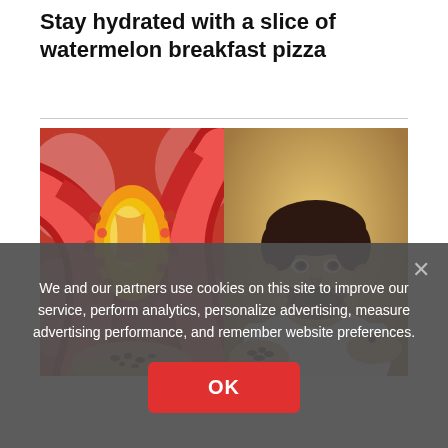Stay hydrated with a slice of watermelon breakfast pizza
[Figure (photo): Two side-by-side photos: left shows a medical illustration of a blood vessel with plaque/cholesterol blockage in red and orange tones; right shows a smiling bearded man in a white t-shirt holding small dark objects (seeds or supplements)]
We and our partners use cookies on this site to improve our service, perform analytics, personalize advertising, measure advertising performance, and remember website preferences.